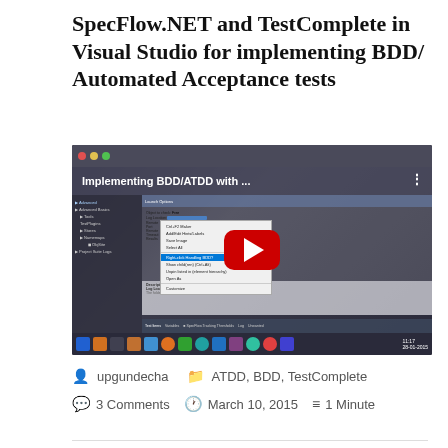SpecFlow.NET and TestComplete in Visual Studio for implementing BDD/ Automated Acceptance tests
[Figure (screenshot): YouTube video thumbnail showing a Visual Studio IDE screenshot with a context menu open, titled 'Implementing BDD/ATDD with ...' with a red YouTube play button overlay]
upgundecha   ATDD, BDD, TestComplete   3 Comments   March 10, 2015   1 Minute
Automated Acceptance